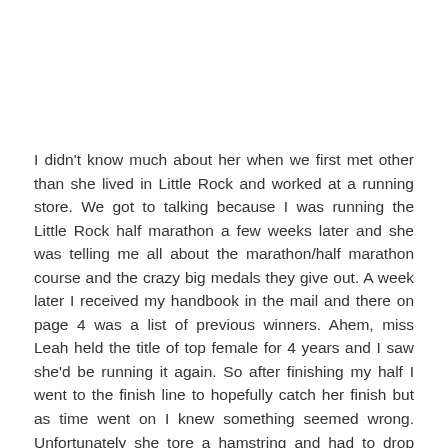I didn't know much about her when we first met other than she lived in Little Rock and worked at a running store. We got to talking because I was running the Little Rock half marathon a few weeks later and she was telling me all about the marathon/half marathon course and the crazy big medals they give out. A week later I received my handbook in the mail and there on page 4 was a list of previous winners. Ahem, miss Leah held the title of top female for 4 years and I saw she'd be running it again. So after finishing my half I went to the finish line to hopefully catch her finish but as time went on I knew something seemed wrong. Unfortunately she tore a hamstring and had to drop back to the half and not complete the full. She then went on to have surgery to repair the leg. I followed her recovery through Facebook. Always with the most amazing